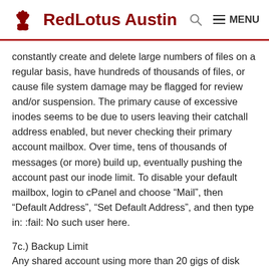RedLotus Austin
constantly create and delete large numbers of files on a regular basis, have hundreds of thousands of files, or cause file system damage may be flagged for review and/or suspension. The primary cause of excessive inodes seems to be due to users leaving their catchall address enabled, but never checking their primary account mailbox. Over time, tens of thousands of messages (or more) build up, eventually pushing the account past our inode limit. To disable your default mailbox, login to cPanel and choose “Mail”, then “Default Address”, “Set Default Address”, and then type in: :fail: No such user here.
7c.) Backup Limit
Any shared account using more than 20 gigs of disk